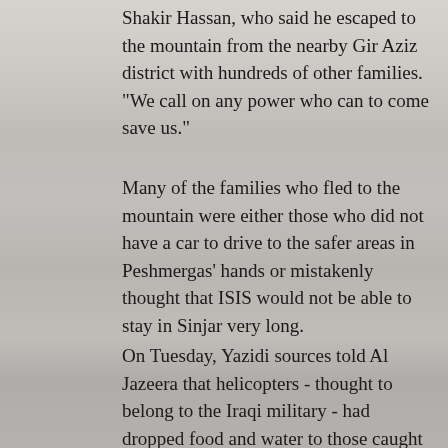Shakir Hassan, who said he escaped to the mountain from the nearby Gir Aziz district with hundreds of other families. "We call on any power who can to come save us."
Many of the families who fled to the mountain were either those who did not have a car to drive to the safer areas in Peshmergas' hands or mistakenly thought that ISIS would not be able to stay in Sinjar very long.
On Tuesday, Yazidi sources told Al Jazeera that helicopters - thought to belong to the Iraqi military - had dropped food and water to those caught in the Sinjar Mountain. But some of the supplies were rendered useless as they flew at a high altitude to avoid being shot down by Islamic State fighters.
The roads from Shekhan to Zumar, another area that Islamic State fighters captured on Saturday, are full of displaced families camping on both sides of the road without any protective shelter. Others are now living